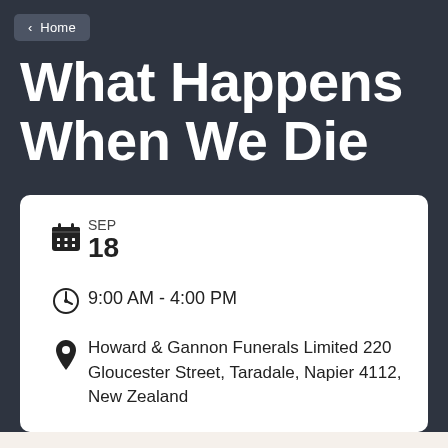< Home
What Happens When We Die
SEP
18
9:00 AM  -  4:00 PM
Howard & Gannon Funerals Limited 220 Gloucester Street, Taradale, Napier 4112, New Zealand